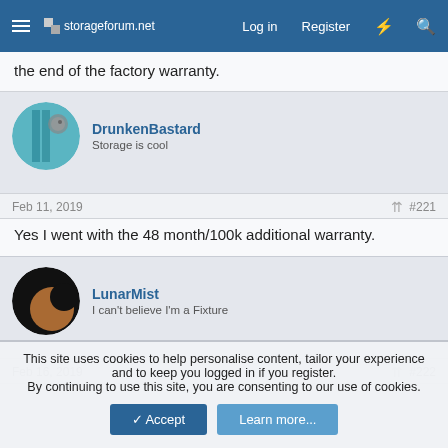storageforum.net | Log in | Register
the end of the factory warranty.
DrunkenBastard
Storage is cool
Feb 11, 2019  #221
Yes I went with the 48 month/100k additional warranty.
LunarMist
I can't believe I'm a Fixture
Feb 16, 2019  #222
This site uses cookies to help personalise content, tailor your experience and to keep you logged in if you register.
By continuing to use this site, you are consenting to our use of cookies.